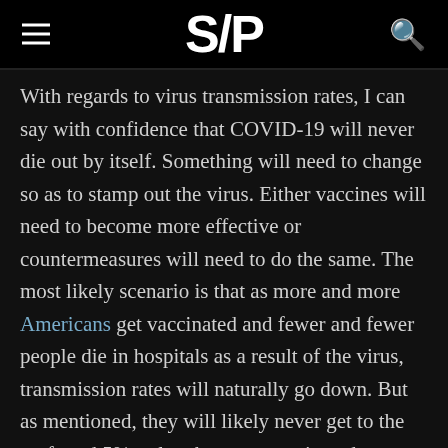S/P
With regards to virus transmission rates, I can say with confidence that COVID-19 will never die out by itself. Something will need to change so as to stamp out the virus. Either vaccines will need to become more effective or countermeasures will need to do the same. The most likely scenario is that as more and more Americans get vaccinated and fewer and fewer people die in hospitals as a result of the virus, transmission rates will naturally go down. But as mentioned, they will likely never get to the preferred 5% or less because vaccinated individuals have proven that they can still get and spread the virus. In order to truly end the